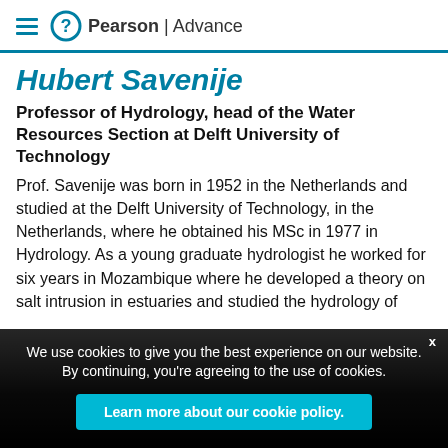Pearson | Advance
Hubert Savenije
Professor of Hydrology, head of the Water Resources Section at Delft University of Technology
Prof. Savenije was born in 1952 in the Netherlands and studied at the Delft University of Technology, in the Netherlands, where he obtained his MSc in 1977 in Hydrology. As a young graduate hydrologist he worked for six years in Mozambique where he developed a theory on salt intrusion in estuaries and studied the hydrology of
We use cookies to give you the best experience on our website. By continuing, you're agreeing to the use of cookies.
Learn more about our cookie policy.